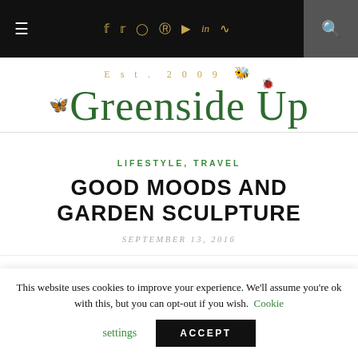≡  f  t  instagram  pinterest  youtube  in  rss  🔍
Est. 2009 🐝 Greenside Up
LIFESTYLE, TRAVEL
GOOD MOODS AND GARDEN SCULPTURE
SEPTEMBER 13, 2016
This website uses cookies to improve your experience. We'll assume you're ok with this, but you can opt-out if you wish. Cookie settings  ACCEPT